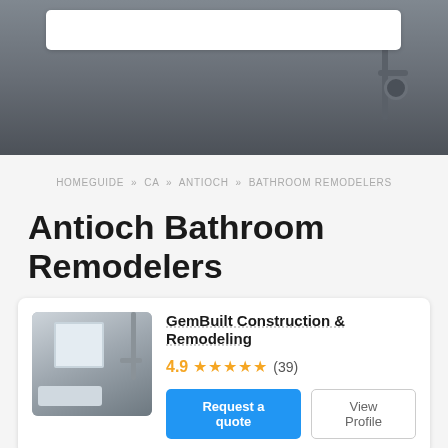[Figure (photo): Hero image of a bathroom interior with dark background, showing a bathtub, window, and pipes. A white search bar overlay is at the top.]
HOMEGUIDE » CA » ANTIOCH » BATHROOM REMODELERS
Antioch Bathroom Remodelers
[Figure (photo): Thumbnail photo of a bathroom with white walls, a bathtub, and a window.]
GemBuilt Construction & Remodeling
4.9 ★★★★★ (39)
Request a quote  View Profile